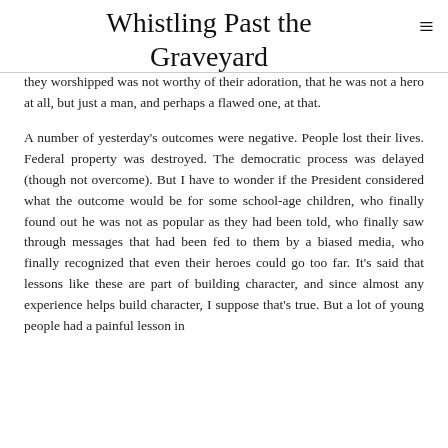Whistling Past the Graveyard
they worshipped was not worthy of their adoration, that he was not a hero at all, but just a man, and perhaps a flawed one, at that.
A number of yesterday's outcomes were negative. People lost their lives. Federal property was destroyed. The democratic process was delayed (though not overcome). But I have to wonder if the President considered what the outcome would be for some school-age children, who finally found out he was not as popular as they had been told, who finally saw through messages that had been fed to them by a biased media, who finally recognized that even their heroes could go too far. It's said that lessons like these are part of building character, and since almost any experience helps build character, I suppose that's true. But a lot of young people had a painful lesson in